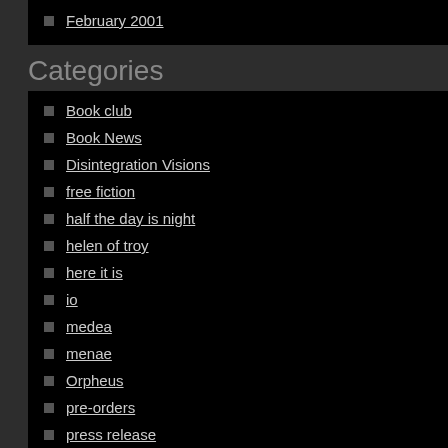February 2001
Categories
Book club
Book News
Disintegration Visions
free fiction
half the day is night
helen of troy
here it is
io
medea
menae
Orpheus
pre-orders
press release
Public Appearance
Read on an Empty Stomach